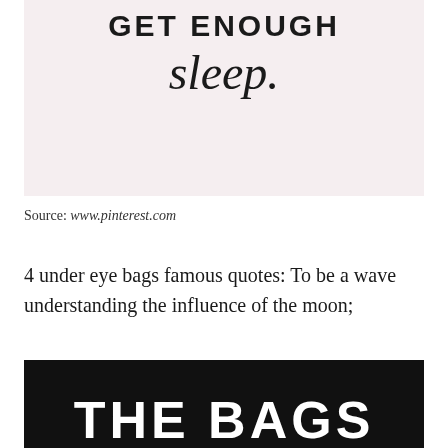[Figure (illustration): Light pink background with bold uppercase text 'GET ENOUGH' and large italic script text 'sleep.' — a motivational quote graphic]
Source: www.pinterest.com
4 under eye bags famous quotes: To be a wave understanding the influence of the moon;
[Figure (illustration): Black background with large bold white uppercase text 'THE BAGS' partially visible at the bottom]